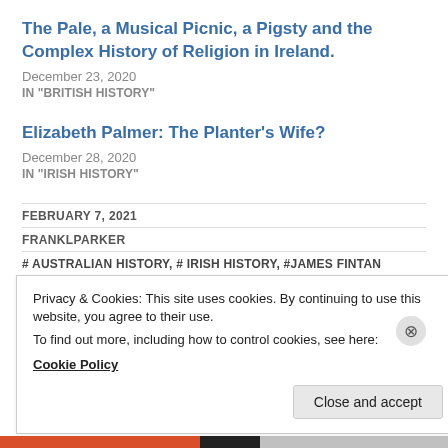The Pale, a Musical Picnic, a Pigsty and the Complex History of Religion in Ireland.
December 23, 2020
IN "BRITISH HISTORY"
Elizabeth Palmer: The Planter’s Wife?
December 28, 2020
IN "IRISH HISTORY"
FEBRUARY 7, 2021
FRANKLPARKER
# AUSTRALIAN HISTORY, # IRISH HISTORY, #JAMES FINTAN
Privacy & Cookies: This site uses cookies. By continuing to use this website, you agree to their use.
To find out more, including how to control cookies, see here:
Cookie Policy
Close and accept